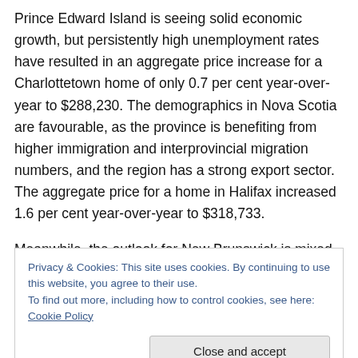Prince Edward Island is seeing solid economic growth, but persistently high unemployment rates have resulted in an aggregate price increase for a Charlottetown home of only 0.7 per cent year-over-year to $288,230. The demographics in Nova Scotia are favourable, as the province is benefiting from higher immigration and interprovincial migration numbers, and the region has a strong export sector. The aggregate price for a home in Halifax increased 1.6 per cent year-over-year to $318,733.
Meanwhile, the outlook for New Brunswick is mixed, with
Privacy & Cookies: This site uses cookies. By continuing to use this website, you agree to their use.
To find out more, including how to control cookies, see here: Cookie Policy
Close and accept
for a home in Moncton decreased 1.2 per cent year-over